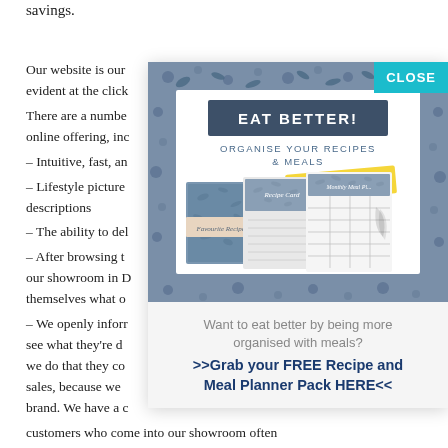savings.
Our website is our evident at the click There are a number online offering, inc – Intuitive, fast, an – Lifestyle picture descriptions – The ability to del – After browsing t our showroom in D themselves what o – We openly inform see what they're d we do that they co sales, because we brand. We have a c customers who come into our showroom often viewing our
[Figure (illustration): Popup advertisement with blue floral border. Header says EAT BETTER! Organise your recipes & meals. Yellow ribbon says free printables. Shows recipe card booklets including Favourite Recipes and Recipe Card and Monthly Meal Plan. CLOSE button in teal top right.]
Want to eat better by being more organised with meals?
>>Grab your FREE Recipe and Meal Planner Pack HERE<<